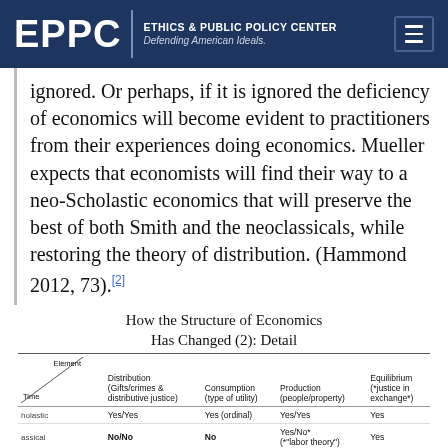EPPC | ETHICS & PUBLIC POLICY CENTER Defending American Ideals.
ignored. Or perhaps, if it is ignored the deficiency of economics will become evident to practitioners from their experiences doing economics. Mueller expects that economists will find their way to a neo-Scholastic economics that will preserve the best of both Smith and the neoclassicals, while restoring the theory of distribution. (Hammond 2012, 73).[2]
How the Structure of Economics Has Changed (2): Detail
| Time \ Element | Distribution (Gifts/crimes & distributive justice) | Consumption (type of utility) | Production (people/property) | Equilibrium (*justice in exchange*) |
| --- | --- | --- | --- | --- |
| holastic | Yes/Yes | Yes (ordinal) | Yes/Yes | Yes |
| assical | No/No | No | Yes/No* (*"labor theory") | Yes |